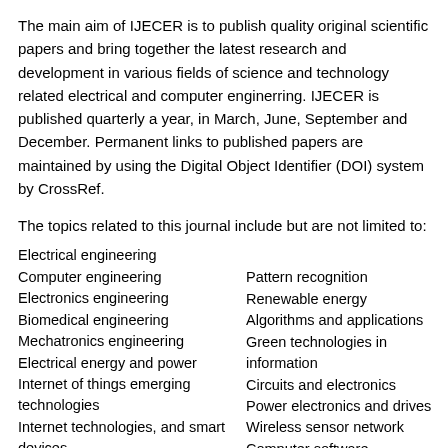The main aim of IJECER is to publish quality original scientific papers and bring together the latest research and development in various fields of science and technology related electrical and computer enginerring. IJECER is published quarterly a year, in March, June, September and December. Permanent links to published papers are maintained by using the Digital Object Identifier (DOI) system by CrossRef.
The topics related to this journal include but are not limited to:
Electrical engineering
Computer engineering
Electronics engineering
Biomedical engineering
Mechatronics engineering
Electrical energy and power
Internet of things emerging technologies
Internet technologies, and smart devices
Pattern recognition
Renewable energy
Algorithms and applications
Green technologies in information
Circuits and electronics
Power electronics and drives
Wireless sensor network
Computer software